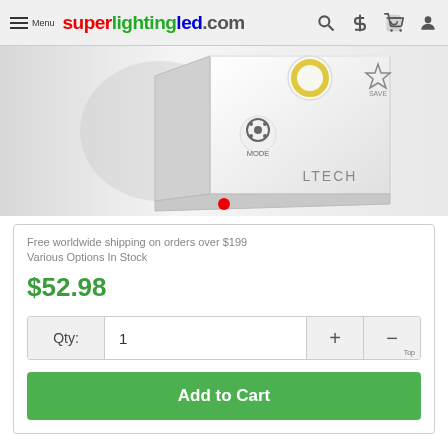Menu | superlightingled.com
[Figure (photo): Product photo of LTECH LED controller device showing MODE and SAVE buttons on a white remote/controller unit against light background with a red dot indicator below]
Free worldwide shipping on orders over $199
Various Options In Stock
$52.98
Qty: 1
Add to Cart
Frequently Bought Together